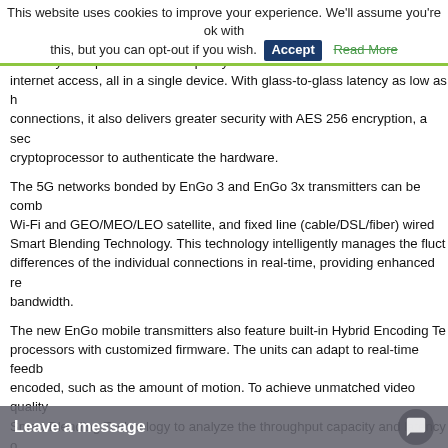This website uses cookies to improve your experience. We'll assume you're ok with this, but you can opt-out if you wish. Accept Read More
it reliably transports broadcast-quality live video from remote locations whi... internet access, all in a single device. With glass-to-glass latency as low as h... connections, it also delivers greater security with AES 256 encryption, a sec... cryptoprocessor to authenticate the hardware.
The 5G networks bonded by EnGo 3 and EnGo 3x transmitters can be comb... Wi-Fi and GEO/MEO/LEO satellite, and fixed line (cable/DSL/fiber) wired... Smart Blending Technology. This technology intelligently manages the fluct... differences of the individual connections in real-time, providing enhanced re... bandwidth.
The new EnGo mobile transmitters also feature built-in Hybrid Encoding Te... processors with customized firmware. The units can adapt to real-time feedb... encoded, such as the amount of motion. To achieve unmatched video quality... Smart Blending Technology to analyze the throughput capacity and latency o...
WayPoint 3 receiver
The new WayPoint 3 makes its debut at IBC. It can receive video in resoluti... quality. WayPoint 3 reconstructs HEVC or AVC video, transported over mul... transmitter from version 1.3 onwards, ensuring reconstruction, decoding, an... that SDI, or MPEG-T workflows can support. Saving rack space in the serve... output up to four feeds f... HD (or lower resolution)...